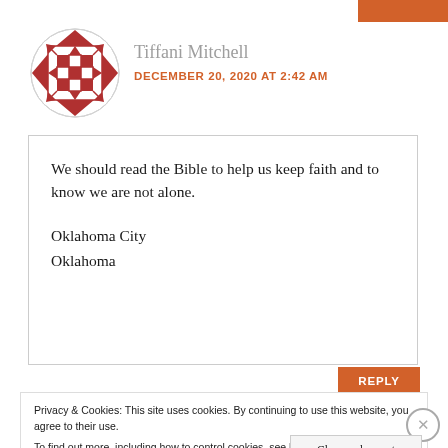[Figure (illustration): Decorative circular avatar with dark red geometric quilt-like pattern]
Tiffani Mitchell
DECEMBER 20, 2020 AT 2:42 AM
We should read the Bible to help us keep faith and to know we are not alone.

Oklahoma City
Oklahoma
REPLY
Privacy & Cookies: This site uses cookies. By continuing to use this website, you agree to their use.
To find out more, including how to control cookies, see here: Cookie Policy
Close and accept